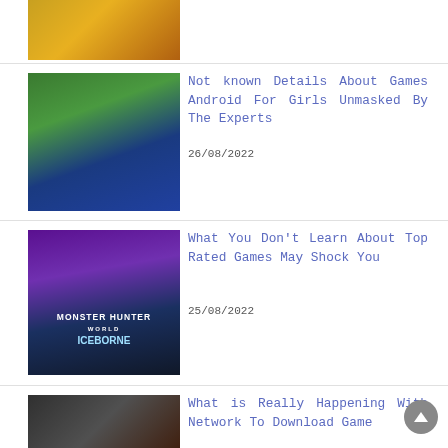[Figure (photo): Partial top image of a game with orange/yellow isometric game world]
[Figure (photo): Hand holding a smartphone displaying a Mario Kart-style racing game, with green foliage background]
Not known Details About Games Android For Girls Unmasked By The Experts
26/08/2022
[Figure (photo): Monster Hunter World: Iceborne game cover art with blue icy monster and hunter]
What You Don't Learn About Top Rated Games May Shock You
25/08/2022
[Figure (photo): Partial image of a dark fantasy game with network/download theme]
What is Really Happening With Network To Download Game